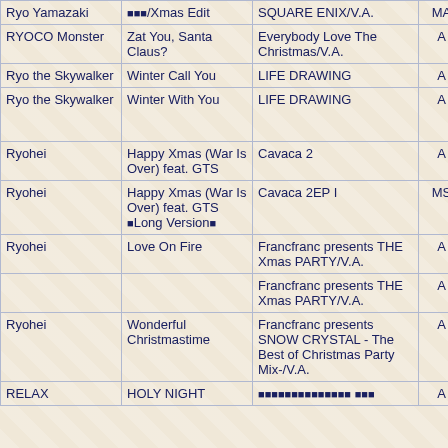| Artist | Song | Album | Type | Note |
| --- | --- | --- | --- | --- |
| Ryo Yamazaki | ■■■/Xmas Edit | SQUARE ENIX/V.A. | MA | ■■ |
| RYOCO Monster | Zat You, Santa Claus? | Everybody Love The Christmas/V.A. | A |  |
| Ryo the Skywalker | Winter Call You | LIFE DRAWING | A |  |
| Ryo the Skywalker | Winter With You | LIFE DRAWING | A | ■■■■■■■■ |
| Ryohei | Happy Xmas (War Is Over) feat. GTS | Cavaca 2 | A |  |
| Ryohei | Happy Xmas (War Is Over) feat. GTS ■Long Version■ | Cavaca 2EP I | MS |  |
| Ryohei | Love On Fire | Francfranc presents THE Xmas PARTY/V.A. | A |  |
|  |  | Francfranc presents THE Xmas PARTY/V.A. | A |  |
| Ryohei | Wonderful Christmastime | Francfranc presents SNOW CRYSTAL - The Best of Christmas Party Mix-/V.A. | A |  |
| RELAX | HOLY NIGHT | ■■■■■■■■■■■■■■ ■■■ | A |  |